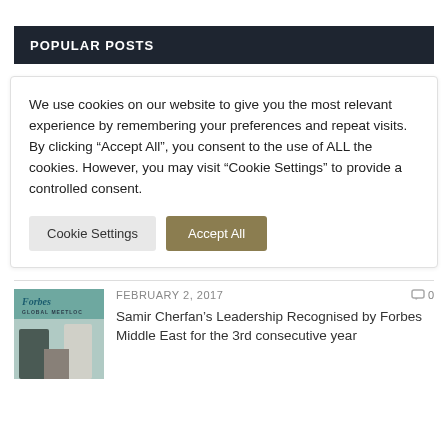POPULAR POSTS
We use cookies on our website to give you the most relevant experience by remembering your preferences and repeat visits. By clicking “Accept All”, you consent to the use of ALL the cookies. However, you may visit “Cookie Settings” to provide a controlled consent.
Cookie Settings   Accept All
FEBRUARY 2, 2017   0
Samir Cherfan’s Leadership Recognised by Forbes Middle East for the 3rd consecutive year